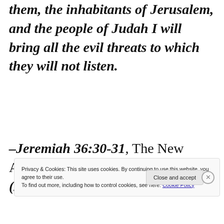them, the inhabitants of Jerusalem, and the people of Judah I will bring all the evil threats to which they will not listen.
–Jeremiah 36:30-31, The New American Bible–Revised Edition (2011)
Privacy & Cookies: This site uses cookies. By continuing to use this website, you agree to their use.
To find out more, including how to control cookies, see here: Cookie Policy
Close and accept